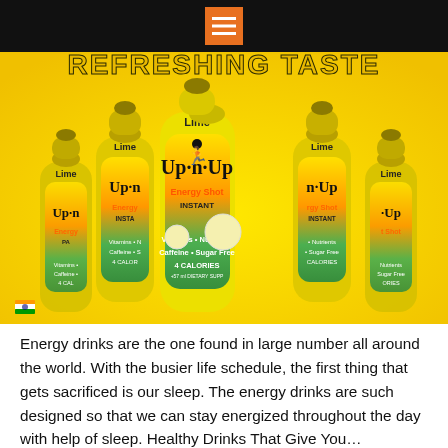menu icon
[Figure (photo): Multiple yellow Up-n-Up Energy Shot Instant bottles (Lime flavor) arranged in a group on a yellow background. Bottles feature a running man logo and text: Vitamins, Nutrients, Caffeine, Sugar Free, 4 Calories. Text at top reads: REFRESHING TASTE]
Energy drinks are the one found in large number all around the world. With the busier life schedule, the first thing that gets sacrificed is our sleep. The energy drinks are such designed so that we can stay energized throughout the day with help of sleep. Healthy Drinks That Give You...